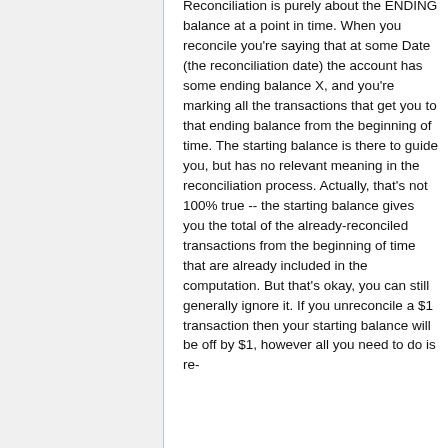Reconciliation is purely about the ENDING balance at a point in time. When you reconcile you're saying that at some Date (the reconciliation date) the account has some ending balance X, and you're marking all the transactions that get you to that ending balance from the beginning of time. The starting balance is there to guide you, but has no relevant meaning in the reconciliation process. Actually, that's not 100% true -- the starting balance gives you the total of the already-reconciled transactions from the beginning of time that are already included in the computation. But that's okay, you can still generally ignore it. If you unreconcile a $1 transaction then your starting balance will be off by $1, however all you need to do is re-